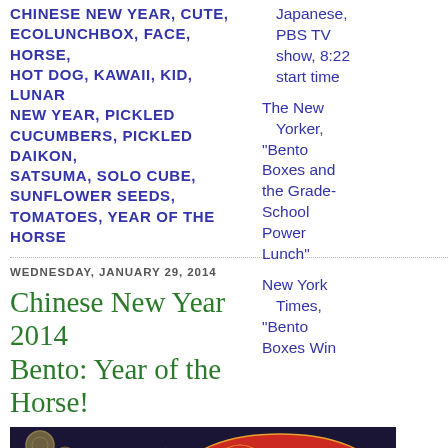CHINESE NEW YEAR, CUTE, ECOLUNCHBOX, FACE, HORSE, HOT DOG, KAWAII, KID, LUNAR NEW YEAR, PICKLED CUCUMBERS, PICKLED DAIKON, SATSUMA, SOLO CUBE, SUNFLOWER SEEDS, TOMATOES, YEAR OF THE HORSE
Japanese, PBS TV show, 8:22 start time
The New Yorker, "Bento Boxes and the Grade-School Power Lunch"
New York Times, "Bento Boxes Win
WEDNESDAY, JANUARY 29, 2014
Chinese New Year 2014 Bento: Year of the Horse!
[Figure (photo): Photo of decorative Chinese fish toys/ornaments in red with yellow patterns on a dark background]